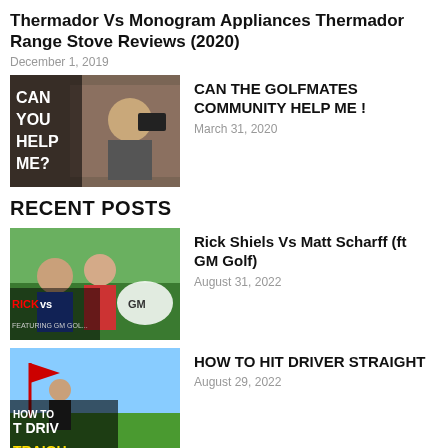Thermador Vs Monogram Appliances Thermador Range Stove Reviews (2020)
December 1, 2019
[Figure (screenshot): Thumbnail for 'CAN THE GOLFMATES COMMUNITY HELP ME!' video showing a person with text CAN YOU HELP ME?]
CAN THE GOLFMATES COMMUNITY HELP ME ! — March 31, 2020
RECENT POSTS
[Figure (screenshot): Thumbnail for Rick Shiels Vs Matt Scharff (ft GM Golf) video]
Rick Shiels Vs Matt Scharff (ft GM Golf) — August 31, 2022
[Figure (screenshot): Thumbnail for HOW TO HIT DRIVER STRAIGHT video]
HOW TO HIT DRIVER STRAIGHT — August 29, 2022
[Figure (screenshot): Thumbnail for How to Use Swing Thoughts to Improve Your Golf video]
How to Use Swing Thoughts to Improve Your Golf — August 28, 2022